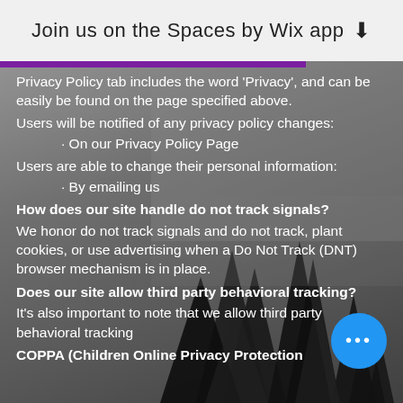Join us on the Spaces by Wix app
Privacy Policy tab includes the word 'Privacy', and can be easily be found on the page specified above.
Users will be notified of any privacy policy changes:
• On our Privacy Policy Page
Users are able to change their personal information:
• By emailing us
How does our site handle do not track signals?
We honor do not track signals and do not track, plant cookies, or use advertising when a Do Not Track (DNT) browser mechanism is in place.
Does our site allow third party behavioral tracking?
It's also important to note that we allow third party behavioral tracking
COPPA (Children Online Privacy Protection